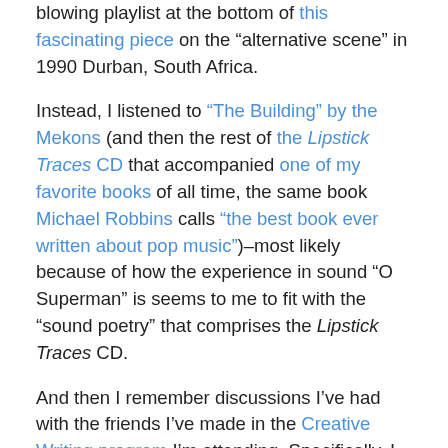blowing playlist at the bottom of this fascinating piece on the “alternative scene” in 1990 Durban, South Africa.
Instead, I listened to “The Building” by the Mekons (and then the rest of the Lipstick Traces CD that accompanied one of my favorite books of all time, the same book Michael Robbins calls “the best book ever written about pop music”)–most likely because of how the experience in sound “O Superman” is seems to me to fit with the “sound poetry” that comprises the Lipstick Traces CD.
And then I remember discussions I’ve had with the friends I’ve made in the Creative Writing program I’m attending. Specifically, I remember talking about how my poems tend to contrast with those of my friend Shane, whose poems I feel are often intimate and quietly erotic whispering (although the two QLRS poems don’t